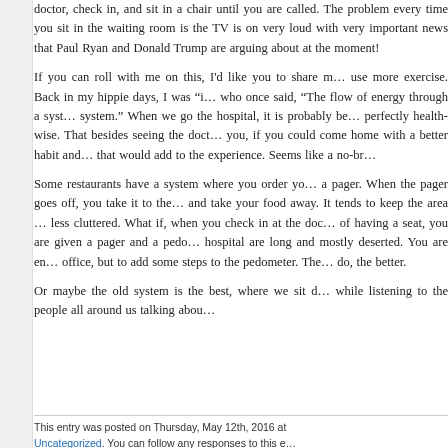doctor, check in, and sit in a chair until you are called. The problem every time you sit in the waiting room is the TV is on very loud with very important news that Paul Ryan and Donald Trump are arguing about at the moment!
If you can roll with me on this, I'd like you to share my vision. We all could use more exercise. Back in my hippie days, I was "introduced" to a writer who once said, "The flow of energy through a system tends to organize that system." When we go the hospital, it is probably because we are not feeling perfectly health-wise. That besides seeing the doctor, what if we told you, if you could come home with a better habit and some exercise under your belt, that would add to the experience. Seems like a no-brainer to me.
Some restaurants have a system where you order your food and they give you a pager. When the pager goes off, you take it to the counter, return the pager, and take your food away. It tends to keep the area near the counter less cluttered. What if, when you check in at the doctor's office, instead of having a seat, you are given a pager and a pedometer? Halls in a hospital are long and mostly deserted. You are encouraged to walk to the office, but to add some steps to the pedometer. The more steps you can do, the better.
Or maybe the old system is the best, where we sit down and read a magazine while listening to the people all around us talking abou
This entry was posted on Thursday, May 12th, 2016 at Uncategorized. You can follow any responses to this en